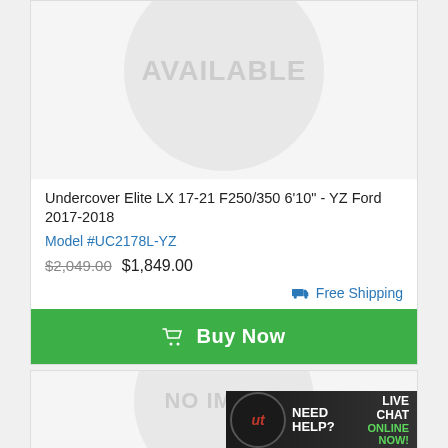[Figure (illustration): No image available placeholder — circular grey badge with 'AVAILABLE' text visible, product image not available]
Undercover Elite LX 17-21 F250/350 6'10" - YZ Ford 2017-2018
Model #UC2178L-YZ
$2,049.00 $1,849.00
Free Shipping
Buy Now
[Figure (illustration): Second product card with no image available placeholder and live chat banner overlay]
NEED HELP? LIVE CHAT ONLINE NOW!